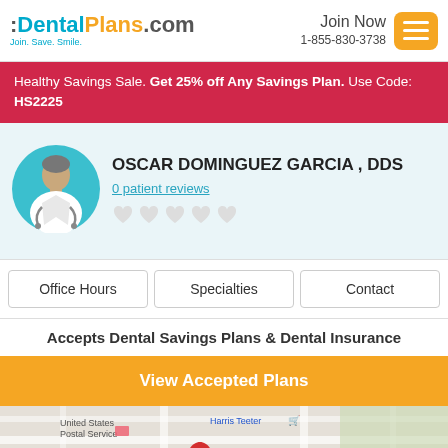:DentalPlans.com Join. Save. Smile. | Join Now 1-855-830-3738
Healthy Savings Sale. Get 25% off Any Savings Plan. Use Code: HS2225
[Figure (illustration): Dentist avatar illustration in teal circle with white coat]
OSCAR DOMINGUEZ GARCIA , DDS
0 patient reviews
Office Hours | Specialties | Contact
Accepts Dental Savings Plans & Dental Insurance
View Accepted Plans
[Figure (map): Google map showing location near 715 Pendleton St, with United States Postal Service and Harris Teeter visible]